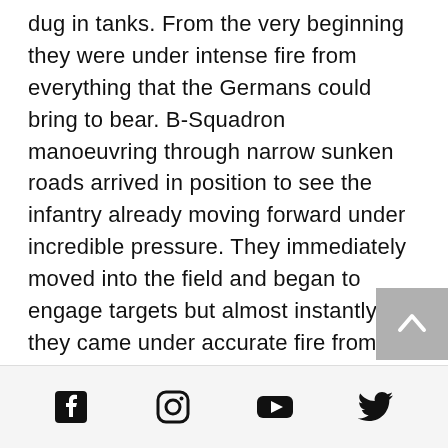dug in tanks. From the very beginning they were under intense fire from everything that the Germans could bring to bear. B-Squadron manoeuvring through narrow sunken roads arrived in position to see the infantry already moving forward under incredible pressure. They immediately moved into the field and began to engage targets but almost instantly they came under accurate fire from well sited and practically invisible tanks and anti tank guns sited the ridge to their front and May-sur-Orne to their right. In a matter of minutes, the squadron commander Major Harris was wounded and they
[social media icons: Facebook, Instagram, YouTube, Twitter]